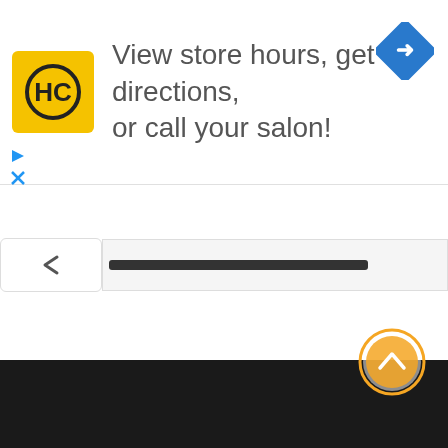[Figure (screenshot): Mobile app ad banner showing HC (Hair Club) yellow logo on left, text 'View store hours, get directions, or call your salon!' in center, blue diamond navigation icon on right. Below banner: ad controls (play/skip icons), a progress bar with chevron button, white content area, dark footer, and orange scroll-to-top button.]